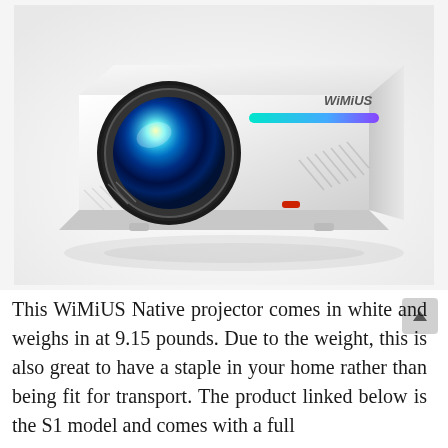[Figure (photo): A white WiMiUS brand projector with a large circular lens showing colorful blue/teal light, a teal-to-purple gradient light bar on the top right, and a red indicator on the front bottom. The projector is shown at an angle on a white reflective surface.]
This WiMiUS Native projector comes in white and weighs in at 9.15 pounds. Due to the weight, this is also great to have a staple in your home rather than being fit for transport. The product linked below is the S1 model and comes with a full